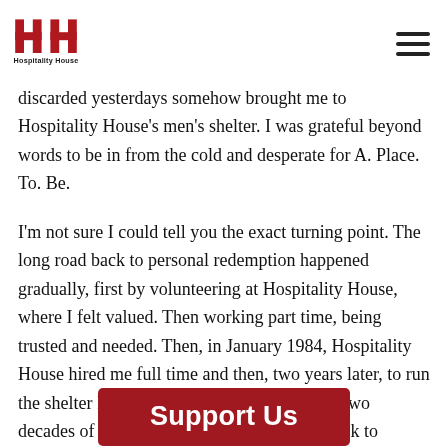Hospitality House
discarded yesterdays somehow brought me to Hospitality House's men's shelter. I was grateful beyond words to be in from the cold and desperate for A. Place. To. Be.
I'm not sure I could tell you the exact turning point. The long road back to personal redemption happened gradually, first by volunteering at Hospitality House, where I felt valued. Then working part time, being trusted and needed. Then, in January 1984, Hospitality House hired me full time and then, two years later, to run the shelter I used to sleep at. Four years ago, two decades of social justice work brought me back to Hospitality House as a program manager. No more discarded yesterdays.
Support Us